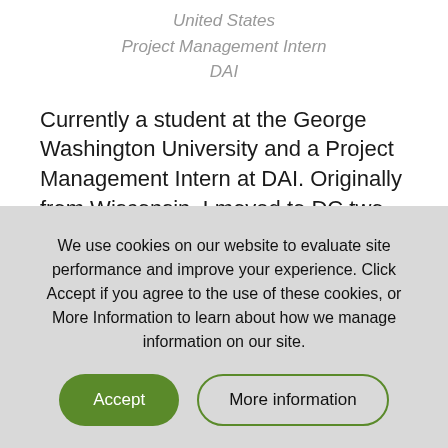United States
Project Management Intern
DAI
Currently a student at the George Washington University and a Project Management Intern at DAI. Originally from Wisconsin, I moved to DC two years ago for my degree in Economics and International Affairs-- but I immediately fell in love
We use cookies on our website to evaluate site performance and improve your experience. Click Accept if you agree to the use of these cookies, or More Information to learn about how we manage information on our site.